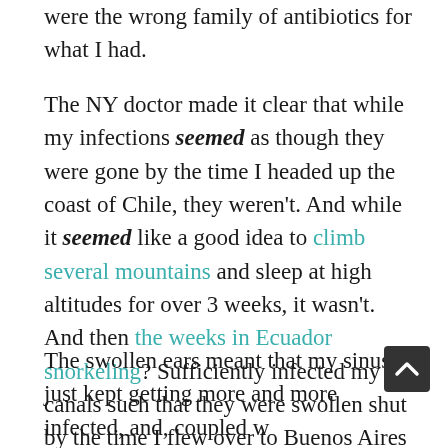were the wrong family of antibiotics for what I had.
The NY doctor made it clear that while my infections seemed as though they were gone by the time I headed up the coast of Chile, they weren't. And while it seemed like a good idea to climb several mountains and sleep at high altitudes for over 3 weeks, it wasn't. And then the weeks in Ecuador snorkeling? Sufficiently infected my ear canals such that they were swollen shut by the time I flew over to Buenos Aires and then to Africa.
The swollen ears meant that my sinuses just kept getting more and more infected, and, coupled with the fact that I was coughing all night and not getting any rest... I was in bad shape (i.e. a fever of